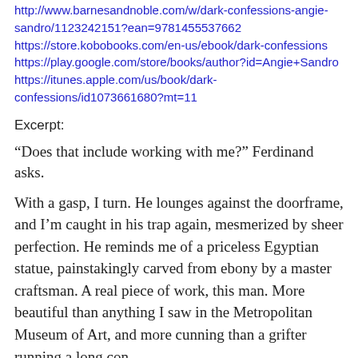http://www.barnesandnoble.com/w/dark-confessions-angie-sandro/1123242151?ean=9781455537662 https://store.kobobooks.com/en-us/ebook/dark-confessions https://play.google.com/store/books/author?id=Angie+Sandro https://itunes.apple.com/us/book/dark-confessions/id1073661680?mt=11
Excerpt:
“Does that include working with me?” Ferdinand asks.
With a gasp, I turn. He lounges against the doorframe, and I’m caught in his trap again, mesmerized by sheer perfection. He reminds me of a priceless Egyptian statue, painstakingly carved from ebony by a master craftsman. A real piece of work, this man. More beautiful than anything I saw in the Metropolitan Museum of Art, and more cunning than a grifter running a long con.